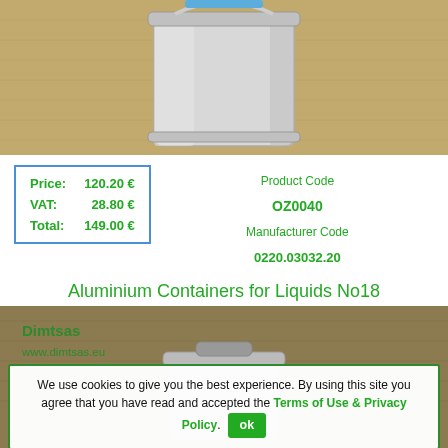[Figure (photo): Photo of a stainless steel bucket/container with a wire handle, on a beige fabric background.]
| Price: | 120.20 € |
| VAT: | 28.80 € |
| Total: | 149.00 € |
Product Code
OZ0040
Manufacturer Code
0220.03032.20
Aluminium Containers for Liquids No18
[Figure (photo): Photo of an aluminium container for liquids No18 with dimtsas logo watermark on a burlap/fabric background, partially obscured by cookie consent banner.]
We use cookies to give you the best experience. By using this site you agree that you have read and accepted the Terms of Use & Privacy Policy.